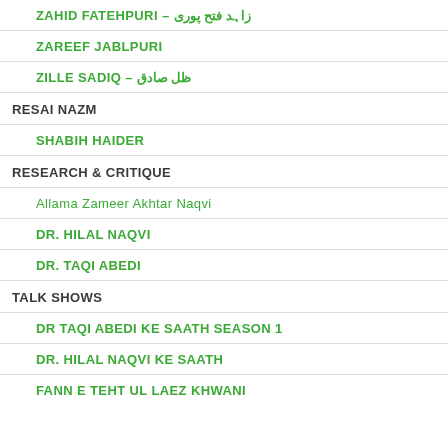ZAHID FATEHPURI – زاہد فتح پوری
ZAREEF JABLPURI
ZILLE SADIQ – ظل صادق
RESAI NAZM
SHABIH HAIDER
RESEARCH & CRITIQUE
Allama Zameer Akhtar Naqvi
DR. HILAL NAQVI
DR. TAQI ABEDI
TALK SHOWS
DR TAQI ABEDI KE SAATH SEASON 1
DR. HILAL NAQVI KE SAATH
FANN E TEHT UL LAEZ KHWANI